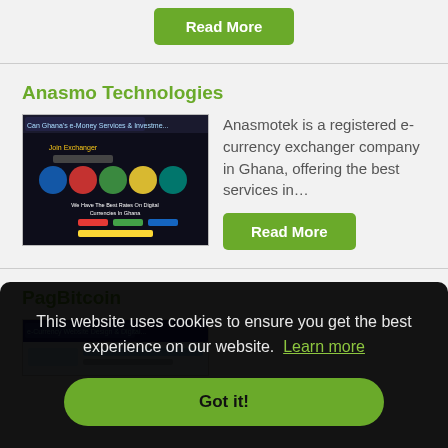Read More
Anasmo Technologies
[Figure (screenshot): Screenshot of Anasmo Technologies website showing digital currency exchange services in Ghana]
Anasmotek is a registered e-currency exchanger company in Ghana, offering the best services in…
Read More
PagBitcoin
[Figure (screenshot): Partial screenshot of PagBitcoin website]
This website uses cookies to ensure you get the best experience on our website.  Learn more
Got it!